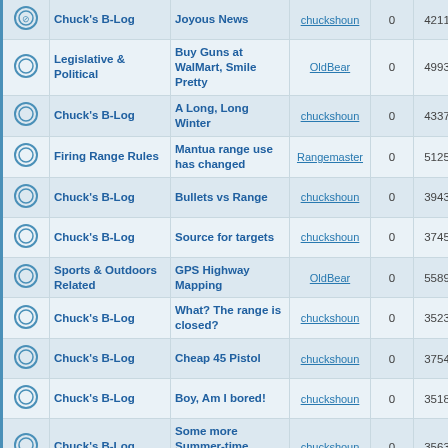|  | Forum | Topic | By | Replies | Views | Last Post |
| --- | --- | --- | --- | --- | --- | --- |
|  | Chuck's B-Log | Joyous News | chuckshoun | 0 | 4211 |  |
|  | Legislative & Political | Buy Guns at WalMart, Smile Pretty | OldBear | 0 | 4993 | Mon M |
|  | Chuck's B-Log | A Long, Long Winter | chuckshoun | 0 | 4337 | Sun J |
|  | Firing Range Rules | Mantua range use has changed | Rangemaster | 0 | 5125 | Wed S |
|  | Chuck's B-Log | Bullets vs Range | chuckshoun | 0 | 3943 | Wed S |
|  | Chuck's B-Log | Source for targets | chuckshoun | 0 | 3745 | Wed S |
|  | Sports & Outdoors Related | GPS Highway Mapping | OldBear | 0 | 5589 | Mon J |
|  | Chuck's B-Log | What? The range is closed? | chuckshoun | 0 | 3523 | Fri Ju |
|  | Chuck's B-Log | Cheap 45 Pistol | chuckshoun | 0 | 3754 | Tue J |
|  | Chuck's B-Log | Boy, Am I bored! | chuckshoun | 0 | 3518 | Tue J |
|  | Chuck's B-Log | Some more Summer-time shooting | chuckshoun | 0 | 3563 | Mon J |
|  | Legislative & Political | Suzanna Hupp explains "Soft | OldBear | 0 | 4495 | Wed A |